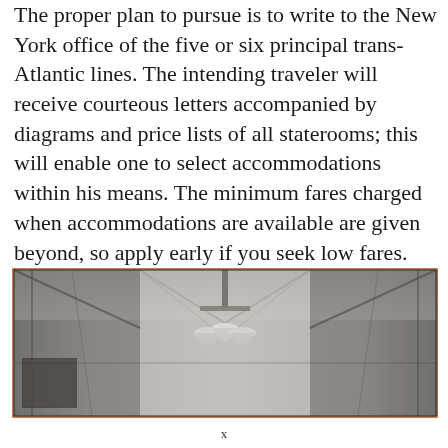The proper plan to pursue is to write to the New York office of the five or six principal trans-Atlantic lines. The intending traveler will receive courteous letters accompanied by diagrams and price lists of all staterooms; this will enable one to select accommodations within his means. The minimum fares charged when accommodations are available are given beyond, so apply early if you seek low fares.
[Figure (photo): Black and white photograph of a ship interior corridor or saloon showing ceiling with hanging light fixtures (pendant lamps) and paneled walls, wide panoramic crop.]
x